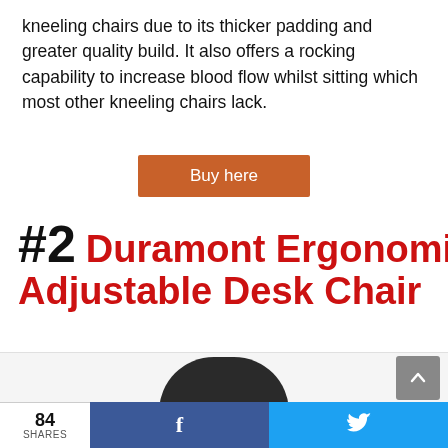kneeling chairs due to its thicker padding and greater quality build. It also offers a rocking capability to increase blood flow whilst sitting which most other kneeling chairs lack.
Buy here
#2 Duramont Ergonomic Adjustable Desk Chair
[Figure (photo): Photo of a black mesh ergonomic desk chair, showing the top backrest portion against a white background.]
84 SHARES  [Facebook share button]  [Twitter share button]